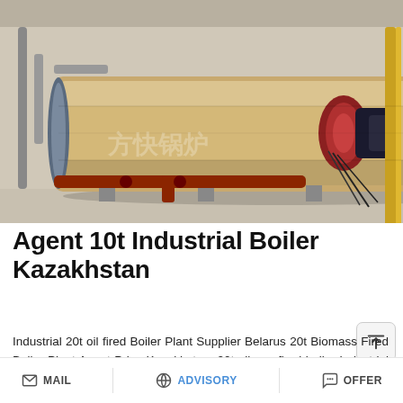[Figure (photo): Industrial boiler in a factory setting — large cylindrical horizontal boiler with beige/tan insulation casing, blue end-cap, red burner unit at right end, red and yellow pipes visible, concrete floor, industrial building interior.]
Agent 10t Industrial Boiler Kazakhstan
Industrial 20t oil fired Boiler Plant Supplier Belarus 20t Biomass Fired Boiler Plant Agent Price Kazakhstan. 20t oil gas fired boiler-Industrial boiler manufacturer. 20t industrial boiler have many type...
[Figure (screenshot): Save Stickers on WhatsApp promotional banner with purple-to-pink gradient background, phone icon (green circle with white phone) and chat icon (pink circle with dots).]
MAIL   ADVISORY   OFFER